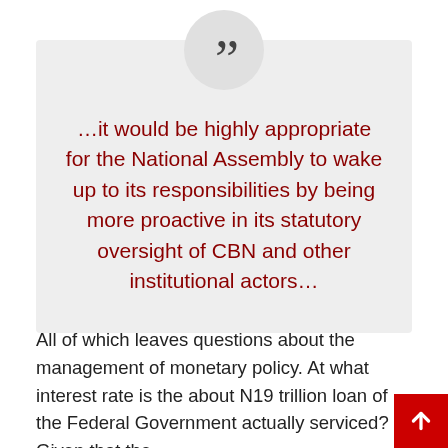[Figure (other): Quotation block with large quotation mark in a circle on a light grey background, containing a pull quote in dark red text.]
…it would be highly appropriate for the National Assembly to wake up to its responsibilities by being more proactive in its statutory oversight of CBN and other institutional actors…
All of which leaves questions about the management of monetary policy. At what interest rate is the about N19 trillion loan of the Federal Government actually serviced? Given that the